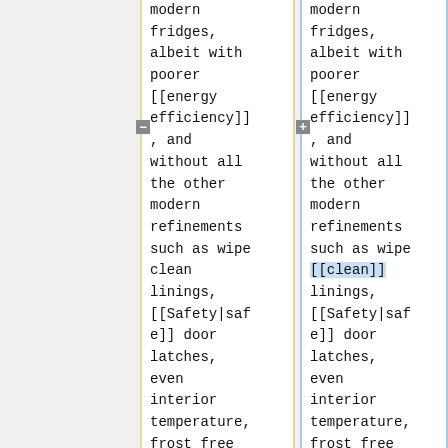modern fridges, albeit with poorer [[energy efficiency]], and without all the other modern refinements such as wipe clean linings, [[Safety|safe]] door latches, even interior temperature, frost free operation
modern fridges, albeit with poorer [[energy efficiency]], and without all the other modern refinements such as wipe [[clean]] linings, [[Safety|safe]] door latches, even interior temperature, frost free operation